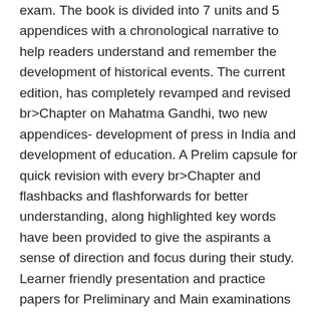exam. The book is divided into 7 units and 5 appendices with a chronological narrative to help readers understand and remember the development of historical events. The current edition, has completely revamped and revised br>Chapter on Mahatma Gandhi, two new appendices- development of press in India and development of education. A Prelim capsule for quick revision with every br>Chapter and flashbacks and flashforwards for better understanding, along highlighted key words have been provided to give the aspirants a sense of direction and focus during their study. Learner friendly presentation and practice papers for Preliminary and Main examinations add as a reliable recipe for the book. The book thus comes as a solution for the aspirants who continue to struggle for complete and exam-centric content in a single source for a wide-ranging subject like modern Indian history. New to this edition- a. Previous years questions (up to 2020) at the end of each br>Chapter B. Two new appendices on -